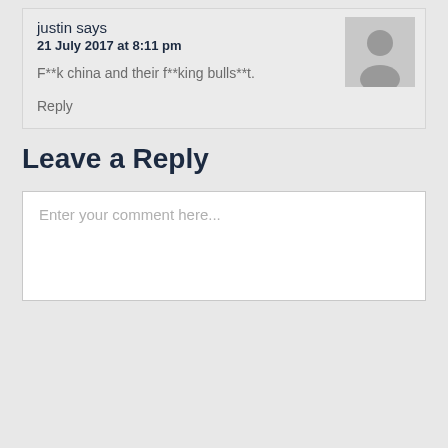justin says
21 July 2017 at 8:11 pm
F**k china and their f**king bulls**t.
Reply
Leave a Reply
Enter your comment here...